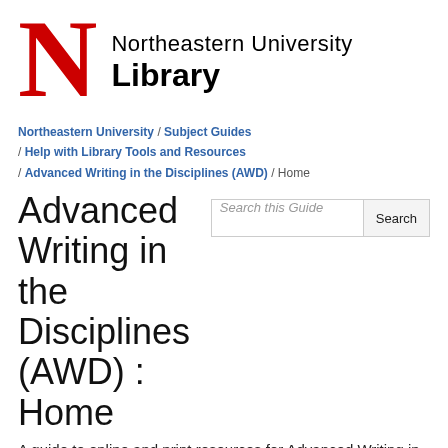[Figure (logo): Northeastern University Library logo: large red N on left, text 'Northeastern University' and bold 'Library' on right]
Northeastern University / Subject Guides / Help with Library Tools and Resources / Advanced Writing in the Disciplines (AWD) / Home
Advanced Writing in the Disciplines (AWD) : Home
A guide to online and print resources for Advanced Writing in the Disciplines
Home | Academic Research ▾ | Course pages ▾ | Citations and Bibliographies
Library workshops